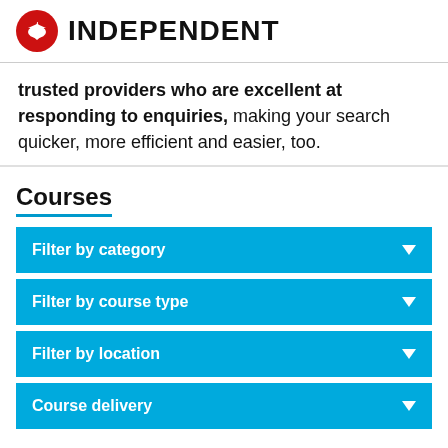INDEPENDENT
trusted providers who are excellent at responding to enquiries, making your search quicker, more efficient and easier, too.
Courses
Filter by category
Filter by course type
Filter by location
Course delivery